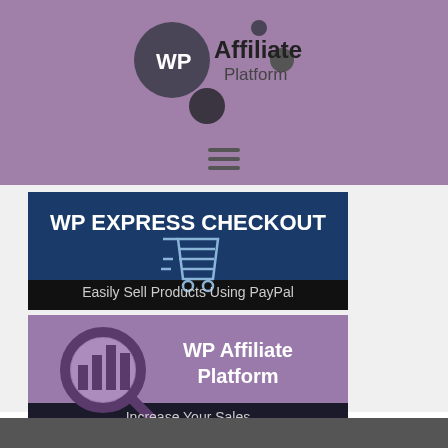[Figure (logo): WP Affiliate Platform logo with dark circle, WP text, and two dot decorations]
[Figure (screenshot): WP Express Checkout banner: dark blue background with shopping cart icon and text 'WP EXPRESS CHECKOUT' and subtitle 'Easily Sell Products Using PayPal']
[Figure (screenshot): WP Affiliate Platform banner: mauve/purple background with magnifying glass icon over bar chart and text 'WP Affiliate Platform' and subtitle 'Increase Your Sales']